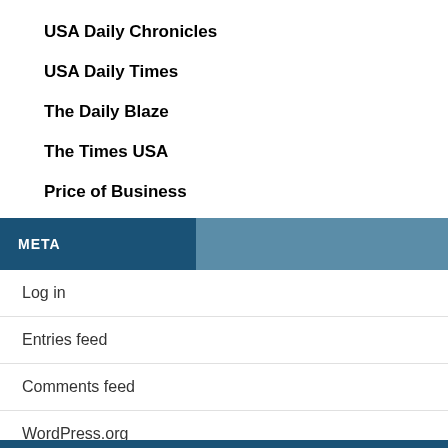USA Daily Chronicles
USA Daily Times
The Daily Blaze
The Times USA
Price of Business
META
Log in
Entries feed
Comments feed
WordPress.org